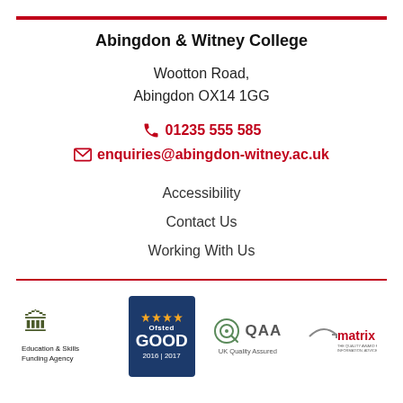Abingdon & Witney College
Wootton Road,
Abingdon OX14 1GG
📞 01235 555 585
✉ enquiries@abingdon-witney.ac.uk
Accessibility
Contact Us
Working With Us
[Figure (logo): Education & Skills Funding Agency logo with royal crest]
[Figure (logo): Ofsted Good 2016|2017 badge on dark blue background with gold stars]
[Figure (logo): QAA UK Quality Assured logo]
[Figure (logo): Matrix logo]